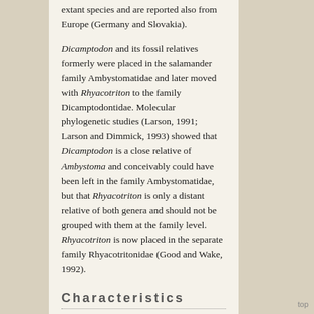extant species and are reported also from Europe (Germany and Slovakia).
Dicamptodon and its fossil relatives formerly were placed in the salamander family Ambystomatidae and later moved with Rhyacotriton to the family Dicamptodontidae. Molecular phylogenetic studies (Larson, 1991; Larson and Dimmick, 1993) showed that Dicamptodon is a close relative of Ambystoma and conceivably could have been left in the family Ambystomatidae, but that Rhyacotriton is only a distant relative of both genera and should not be grouped with them at the family level. Rhyacotriton is now placed in the separate family Rhyacotritonidae (Good and Wake, 1992).
Characteristics
Diagnosis
Dicamptodontid salamanders